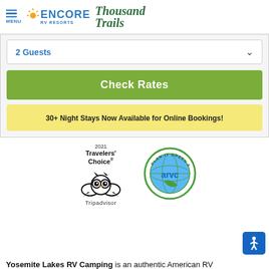[Figure (logo): Encore RV Resorts and Thousand Trails logo with hamburger menu icon]
2 Guests
Check Rates
30+ Night Stays Now Available for Online Bookings!
[Figure (logo): 2021 Travelers' Choice Tripadvisor award badge with owl logo]
[Figure (logo): ARVC Plan-It Green Friendly Park circular badge]
[Figure (logo): Blue accessibility icon button]
Yosemite Lakes RV Camping is an authentic American RV